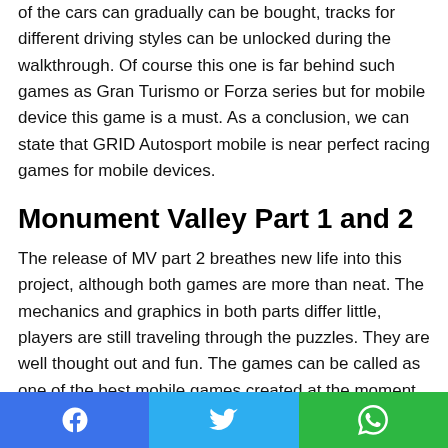of the cars can gradually can be bought, tracks for different driving styles can be unlocked during the walkthrough. Of course this one is far behind such games as Gran Turismo or Forza series but for mobile device this game is a must. As a conclusion, we can state that GRID Autosport mobile is near perfect racing games for mobile devices.
Monument Valley Part 1 and 2
The release of MV part 2 breathes new life into this project, although both games are more than neat. The mechanics and graphics in both parts differ little, players are still traveling through the puzzles. They are well thought out and fun. The games can be called as one of the best mobile games created at the moment.
[Figure (other): Social sharing bar with Facebook (blue), Twitter (blue), and WhatsApp (green) buttons with respective icons]